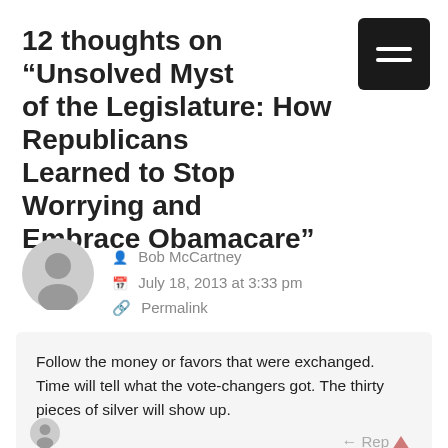12 thoughts on “Unsolved Mysteries of the Legislature: How Republicans Learned to Stop Worrying and Embrace Obamacare”
Bob McCartney
July 18, 2013 at 3:33 pm
Permalink
Follow the money or favors that were exchanged. Time will tell what the vote-changers got. The thirty pieces of silver will show up.